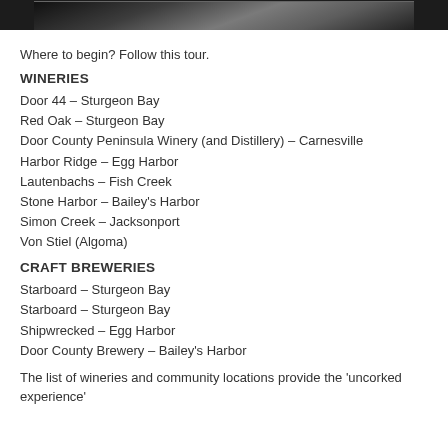[Figure (photo): Partial photo of wine barrels or similar cylindrical objects, dark background]
Where to begin? Follow this tour.
WINERIES
Door 44 – Sturgeon Bay
Red Oak – Sturgeon Bay
Door County Peninsula Winery (and Distillery) – Carnesville
Harbor Ridge – Egg Harbor
Lautenbachs – Fish Creek
Stone Harbor – Bailey's Harbor
Simon Creek – Jacksonport
Von Stiel (Algoma)
CRAFT BREWERIES
Starboard – Sturgeon Bay
Starboard – Sturgeon Bay
Shipwrecked – Egg Harbor
Door County Brewery – Bailey's Harbor
The list of wineries and community locations provide the 'uncorked experience'